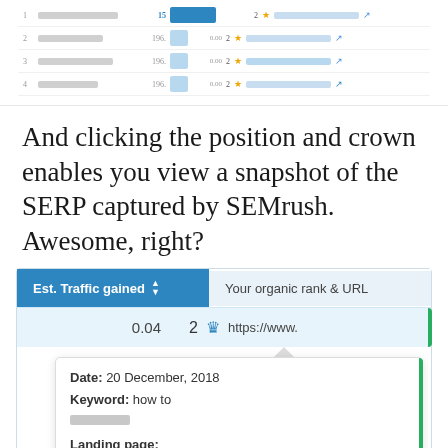[Figure (screenshot): Top portion of a SEMrush table showing rows with blurred keyword data, position numbers, blue bar chart cells, and URLs with star icons and external link icons.]
And clicking the position and crown enables you view a snapshot of the SERP captured by SEMrush. Awesome, right?
[Figure (screenshot): SEMrush SERP snapshot popup showing Est. Traffic gained column (0.04), organic rank 2 with crown icon and https://www. URL, and a popup card with Date: 20 December, 2018, Keyword: how to [blurred], Landing page: https://www. [blurred], and an external link icon.]